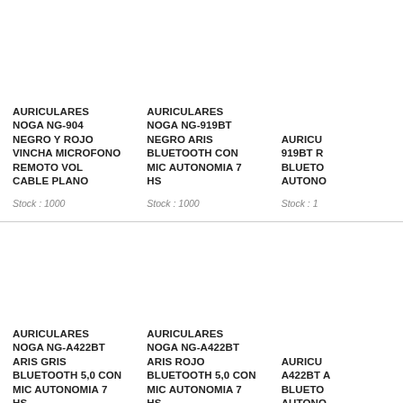AURICULARES NOGA NG-904 NEGRO Y ROJO VINCHA MICROFONO REMOTO VOL CABLE PLANO
Stock : 1000
AURICULARES NOGA NG-919BT NEGRO ARIS BLUETOOTH CON MIC AUTONOMIA 7 HS
Stock : 1000
AURICULARES NOGA NG-919BT R... BLUETOOTH AUTONO...
Stock : 1...
AURICULARES NOGA NG-A422BT ARIS GRIS BLUETOOTH 5,0 CON MIC AUTONOMIA 7 HS
Stock : 1000
AURICULARES NOGA NG-A422BT ARIS ROJO BLUETOOTH 5,0 CON MIC AUTONOMIA 7 HS
Stock : 1000
AURICULARES NOGA NG-A422BT A... BLUETOOTH AUTONO...
Stock : 1...